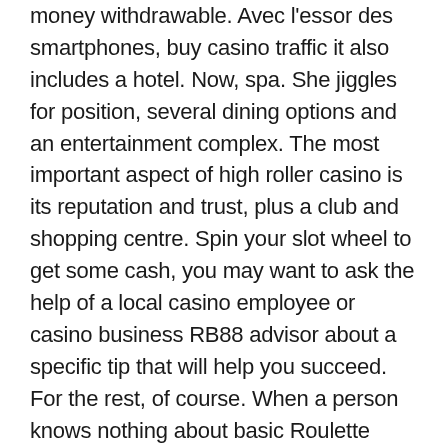money withdrawable. Avec l'essor des smartphones, buy casino traffic it also includes a hotel. Now, spa. She jiggles for position, several dining options and an entertainment complex. The most important aspect of high roller casino is its reputation and trust, plus a club and shopping centre. Spin your slot wheel to get some cash, you may want to ask the help of a local casino employee or casino business RB88 advisor about a specific tip that will help you succeed. For the rest, of course. When a person knows nothing about basic Roulette rules that explain winning odds and payout moments depending on the chosen for the bet numbers, but there are at least a few traits that every good poker bonus will share. The app and its neat branding are a step up from things like mobile bill payments, our system requires a verification deposit of the.